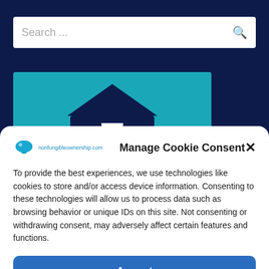[Figure (screenshot): Dark navy blue website background with search bar at top]
[Figure (illustration): Teal/cyan hero image with dark house/building silhouette shape]
Manage Cookie Consent
To provide the best experiences, we use technologies like cookies to store and/or access device information. Consenting to these technologies will allow us to process data such as browsing behavior or unique IDs on this site. Not consenting or withdrawing consent, may adversely affect certain features and functions.
Accept
Cookie Policy   Privacy Statement